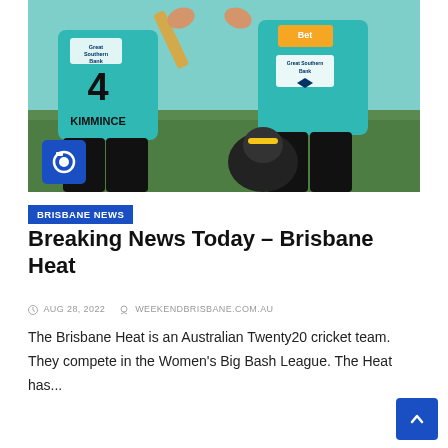[Figure (photo): Two Brisbane Heat cricket players in teal/cyan jerseys with 'Great Southern Bank' sponsor logos celebrating, one jersey showing number 4 and name KIMMINCE. A photographer is visible in the lower right. A camera icon overlay is in the lower left of the image.]
BRISBANE NEWS
Breaking News Today – Brisbane Heat
AUG 28, 2022   WEEKENDBRISBANE.COM.AU
The Brisbane Heat is an Australian Twenty20 cricket team. They compete in the Women's Big Bash League. The Heat has...